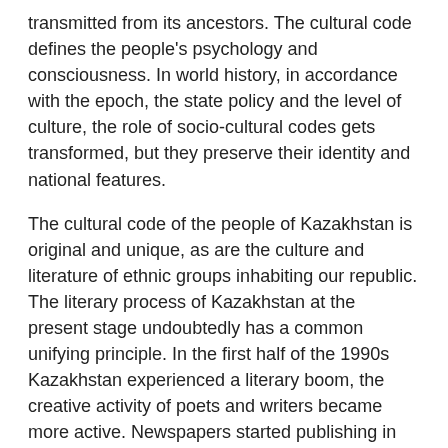transmitted from its ancestors. The cultural code defines the people's psychology and consciousness. In world history, in accordance with the epoch, the state policy and the level of culture, the role of socio-cultural codes gets transformed, but they preserve their identity and national features.
The cultural code of the people of Kazakhstan is original and unique, as are the culture and literature of ethnic groups inhabiting our republic. The literary process of Kazakhstan at the present stage undoubtedly has a common unifying principle. In the first half of the 1990s Kazakhstan experienced a literary boom, the creative activity of poets and writers became more active. Newspapers started publishing in Kazakh, Russian, Ukrainian, Polish, English, German, Korean, Uzbek, Uighur, Turkish and other languages. Theatre and music performances appeared on the stages of national theatres; ethnic schools started functioning in places of compact residence of ethnic minorities.
The cultural code of the people of Kazakhstan is reflected in contemporary literature and art. Kazakhstan is a common motherland for everyone who lives in this land. The authors of works, regardless of nationality, are characterised by a very personal,